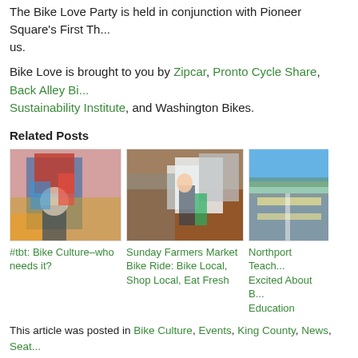The Bike Love Party is held in conjunction with Pioneer Square's First Th... us.
Bike Love is brought to you by Zipcar, Pronto Cycle Share, Back Alley Bi..., Sustainability Institute, and Washington Bikes.
Related Posts
[Figure (photo): Person dressed as clown riding a bicycle in a street parade]
#tbt: Bike Culture–who needs it?
[Figure (photo): Person with a small bicycle at a farmers market with white tents]
Sunday Farmers Market Bike Ride: Bike Local, Shop Local, Eat Fresh
[Figure (photo): Road/highway scene with blue sky and mountains in background]
Northport Teach... Excited About B... Education
This article was posted in Bike Culture, Events, King County, News, Seat... Seattle. Bookmark the permalink. Follow comments with the RSS feed fo...